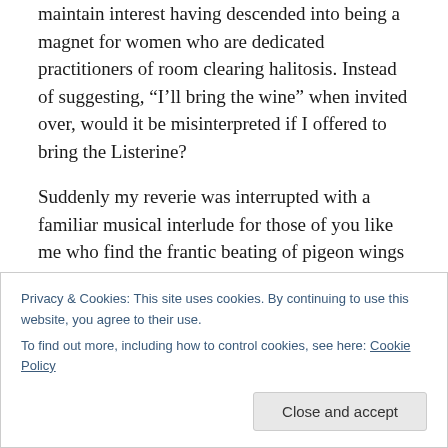maintain interest having descended into being a magnet for women who are dedicated practitioners of room clearing halitosis. Instead of suggesting, “I’ll bring the wine” when invited over, would it be misinterpreted if I offered to bring the Listerine?
Suddenly my reverie was interrupted with a familiar musical interlude for those of you like me who find the frantic beating of pigeon wings on an air conditioner soothing. As I listened to the rock doves clamoring outside that were either passionately mating or engaging in a feather flying turf war, both acts uncannily sound equally
Privacy & Cookies: This site uses cookies. By continuing to use this website, you agree to their use.
To find out more, including how to control cookies, see here: Cookie Policy